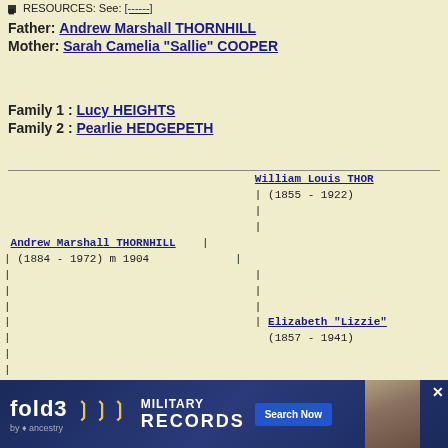RESOURCES: See: [------]
Father: Andrew Marshall THORNHILL
Mother: Sarah Camelia "Sallie" COOPER
Family 1 : Lucy HEIGHTS
Family 2 : Pearlie HEDGEPETH
[Figure (other): Genealogy tree diagram showing Andrew Marshall THORNHILL (1884-1972) m 1904, with parents William Louis THOR... (1855-1922) and Elizabeth "Lizzie" (1857-1941), and child --Hillery Hough THORNHILL (1908-...)]
[Figure (other): Fold3 Military Records advertisement banner with Search Now button]